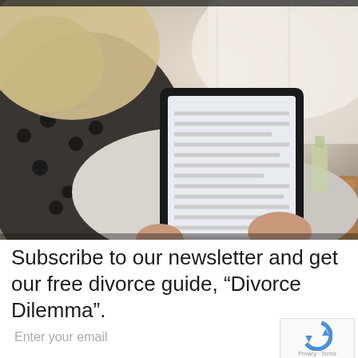[Figure (photo): Woman sitting on a couch or chair reading on a tablet/e-reader, wearing a black-and-white patterned top, with a wooden surface and bright window in the background.]
Subscribe to our newsletter and get our free divorce guide, “Divorce Dilemma”.
Enter your email